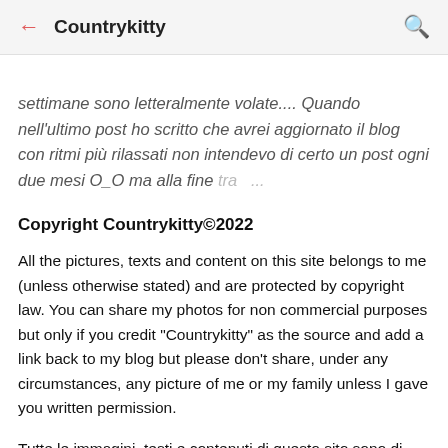← Countrykitty 🔍
settimane sono letteralmente volate.... Quando nell'ultimo post ho scritto che avrei aggiornato il blog con ritmi più rilassati non intendevo di certo un post ogni due mesi O_O ma alla fine tra ...
Copyright Countrykitty©2022
All the pictures, texts and content on this site belongs to me (unless otherwise stated) and are protected by copyright law. You can share my photos for non commercial purposes but only if you credit "Countrykitty" as the source and add a link back to my blog but please don't share, under any circumstances, any picture of me or my family unless I gave you written permission.
Tutte le immagini, testi e contenuti di questo sito sono di mia proprietá (se non diversamente specificato) e protetti dalla legge sul copyright. Se desideri condividere una mia foto per scopi non commerciali puoi farlo ma solo specificando